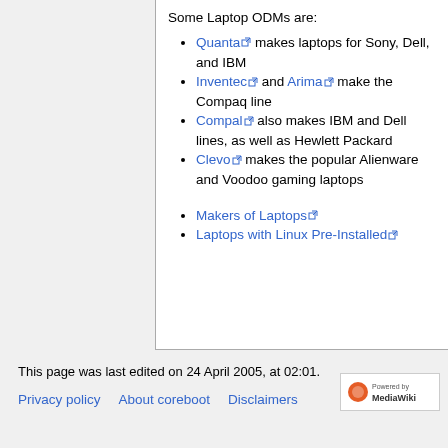Some Laptop ODMs are:
Quanta makes laptops for Sony, Dell, and IBM
Inventec and Arima make the Compaq line
Compal also makes IBM and Dell lines, as well as Hewlett Packard
Clevo makes the popular Alienware and Voodoo gaming laptops
Makers of Laptops
Laptops with Linux Pre-Installed
This page was last edited on 24 April 2005, at 02:01.
Privacy policy   About coreboot   Disclaimers